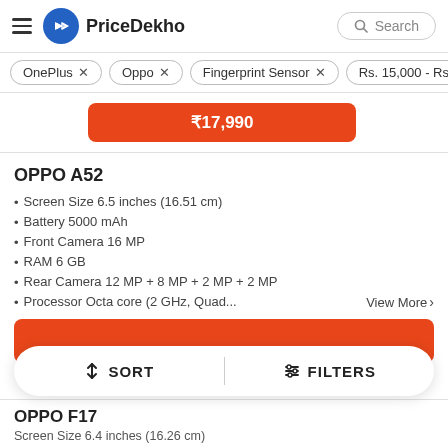PriceDekho
OnePlus ×
Oppo ×
Fingerprint Sensor ×
Rs. 15,000 - Rs. 20,000
₹17,990
OPPO A52
Screen Size 6.5 inches (16.51 cm)
Battery 5000 mAh
Front Camera 16 MP
RAM 6 GB
Rear Camera 12 MP + 8 MP + 2 MP + 2 MP
Processor Octa core (2 GHz, Quad...
View More >
SORT   FILTERS
OPPO F17
Screen Size 6.4 inches (16.26 cm)